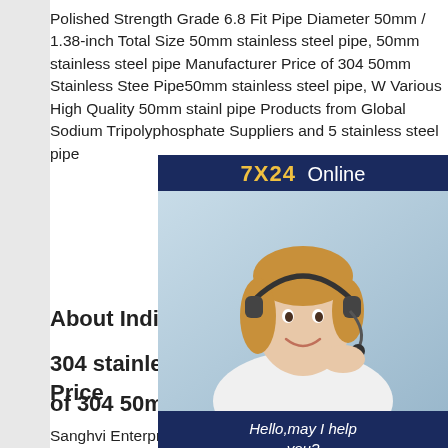Polished Strength Grade 6.8 Fit Pipe Diameter 50mm / 1.38-inch Total Size 50mm stainless steel pipe, 50mm stainless steel pipe Manufacturer Price of 304 50mm Stainless Steel Pipe50mm stainless steel pipe, W Various High Quality 50mm stainless pipe Products from Global Sodium Tripolyphosphate Suppliers and 5 stainless steel pipe
[Figure (photo): Customer service representative with headset, advertising 7X24 Online support with 'Hello, may I help you?' and 'Get Latest Price' button on a dark blue background]
About India's 6 largest manufacturers
304 stainless Manufacturer Directly Price
of 304 50mm Stainless Steel Pipe
Sanghvi Enterprises Manufacturers stianless steel materialsStainless Steel Round Bar, Stainless Steel Plate,